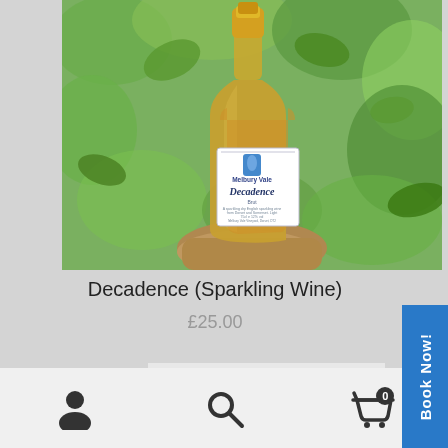[Figure (photo): A sparkling wine bottle with a gold foil top and white label reading 'Melbury Vale Decadence Brut', placed on a stone surface with green leafy plants in the background.]
Decadence (Sparkling Wine)
£25.00
Add to basket
Book Now!